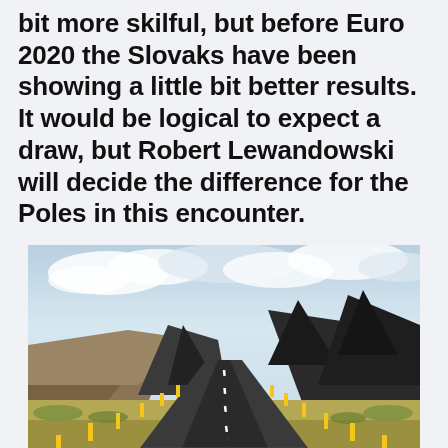bit more skilful, but before Euro 2020 the Slovaks have been showing a little bit better results. It would be logical to expect a draw, but Robert Lewandowski will decide the difference for the Poles in this encounter.
[Figure (photo): A straight asphalt road with white dashed center line and yellow roadside posts leading toward volcanic mountain peaks under a partly cloudy sky, in an open highland landscape.]